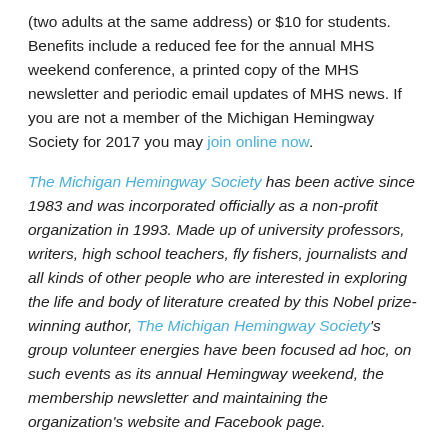(two adults at the same address) or $10 for students. Benefits include a reduced fee for the annual MHS weekend conference, a printed copy of the MHS newsletter and periodic email updates of MHS news. If you are not a member of the Michigan Hemingway Society for 2017 you may join online now.
The Michigan Hemingway Society has been active since 1983 and was incorporated officially as a non-profit organization in 1993. Made up of university professors, writers, high school teachers, fly fishers, journalists and all kinds of other people who are interested in exploring the life and body of literature created by this Nobel prize-winning author, The Michigan Hemingway Society's group volunteer energies have been focused ad hoc, on such events as its annual Hemingway weekend, the membership newsletter and maintaining the organization's website and Facebook page.